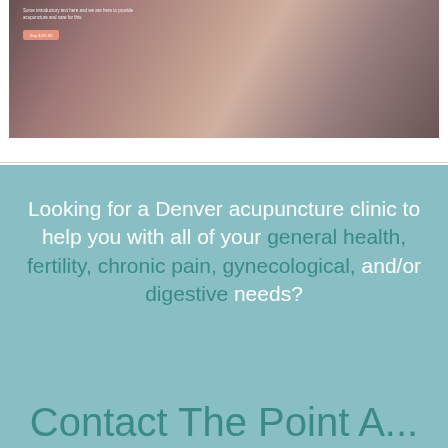[Figure (photo): Partial screenshot of a website showing a woman's face/shoulder in warm tones with overlay text and a salmon-colored button]
Looking for a Denver acupuncture clinic to help you with all of your general health, fertility, chronic pain, gynecological, and/or digestive needs?
Contact The Point A...